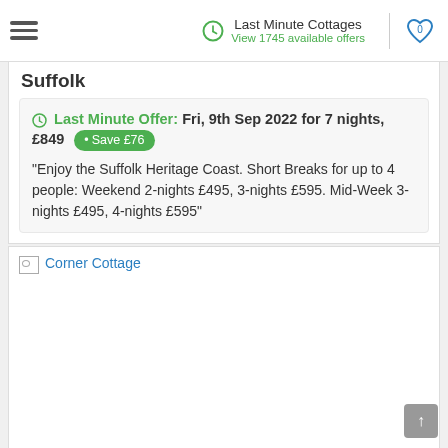Last Minute Cottages — View 1745 available offers
Suffolk
Last Minute Offer: Fri, 9th Sep 2022 for 7 nights, £849 • Save £76
"Enjoy the Suffolk Heritage Coast. Short Breaks for up to 4 people: Weekend 2-nights £495, 3-nights £595. Mid-Week 3-nights £495, 4-nights £595"
[Figure (photo): Broken image placeholder labelled Corner Cottage]